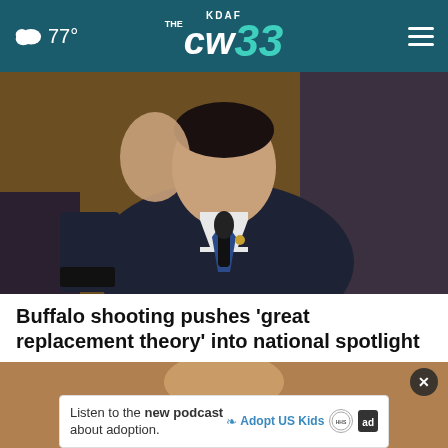KDAF CW33 — 77°
[Figure (photo): Man in dark suit with blue tie gesturing with right hand while speaking at a microphone, seated at a hearing table]
Buffalo shooting pushes 'great replacement theory' into national spotlight
[Figure (photo): Partial view of a second news photo with an advertisement overlay: 'Listen to the new podcast about adoption.' with Adopt US Kids and ad logos]
Listen to the new podcast about adoption.